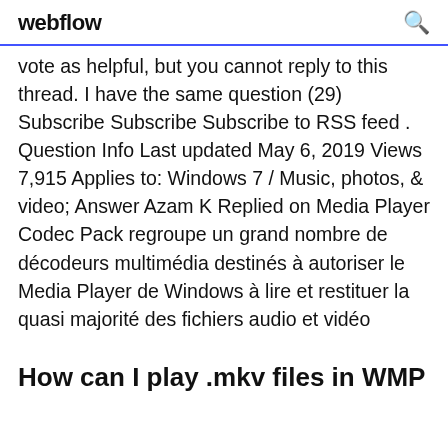webflow
vote as helpful, but you cannot reply to this thread. I have the same question (29) Subscribe Subscribe Subscribe to RSS feed . Question Info Last updated May 6, 2019 Views 7,915 Applies to: Windows 7 / Music, photos, & video; Answer Azam K Replied on Media Player Codec Pack regroupe un grand nombre de décodeurs multimédia destinés à autoriser le Media Player de Windows à lire et restituer la quasi majorité des fichiers audio et vidéo
How can I play .mkv files in WMP